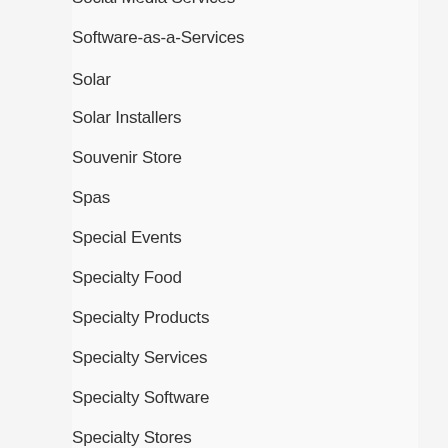Social Media Services
Software-as-a-Services
Solar
Solar Installers
Souvenir Store
Spas
Special Events
Specialty Food
Specialty Products
Specialty Services
Specialty Software
Specialty Stores
Specialty Technology
Sporting Events
Sporting Goods